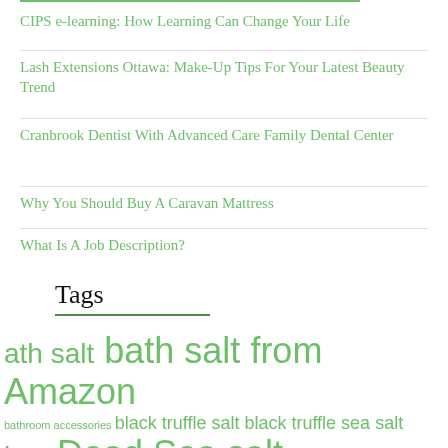CIPS e-learning: How Learning Can Change Your Life
Lash Extensions Ottawa: Make-Up Tips For Your Latest Beauty Trend
Cranbrook Dentist With Advanced Care Family Dental Center
Why You Should Buy A Caravan Mattress
What Is A Job Description?
Tags
ath salt bath salt from Amazon bathroom accessories black truffle salt black truffle sea salt buy Dead Sea salt camping gear camping table chatbot Dead Sea salt Dead Sea salt from Amazon dentist digital marketing dog